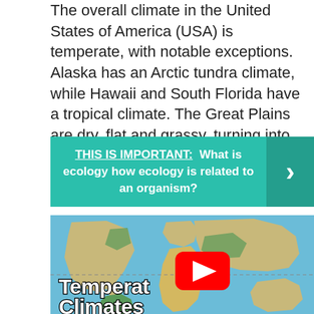The overall climate in the United States of America (USA) is temperate, with notable exceptions. Alaska has an Arctic tundra climate, while Hawaii and South Florida have a tropical climate. The Great Plains are dry, flat and grassy, turning into arid desert in the far West.
THIS IS IMPORTANT: What is ecology how ecology is related to an organism?
[Figure (other): A world climate map showing temperate climate zones with a YouTube play button overlay, titled 'Temperate Climates']